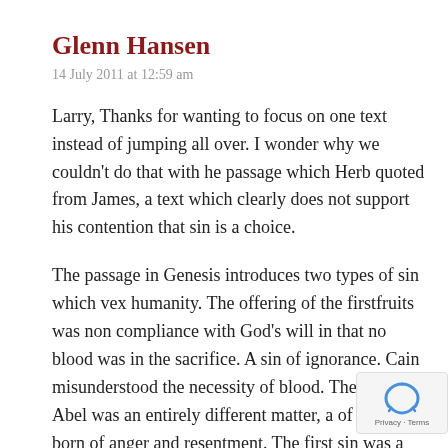Glenn Hansen
14 July 2011 at 12:59 am
Larry, Thanks for wanting to focus on one text instead of jumping all over. I wonder why we couldn't do that with he passage which Herb quoted from James, a text which clearly does not support his contention that sin is a choice.
The passage in Genesis introduces two types of sin which vex humanity. The offering of the firstfruits was non compliance with God's will in that no blood was in the sacrifice. A sin of ignorance. Cain misunderstood the necessity of blood. The killing of Abel was an entirely different matter, a of passion, born of anger and resentment. The first sin was a sin or